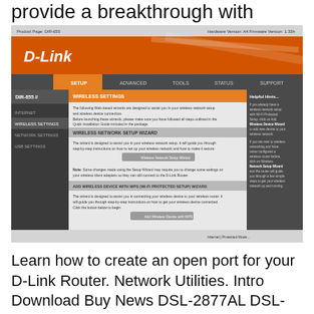provide a breakthrough with
[Figure (screenshot): D-Link router wireless settings admin page screenshot showing wireless settings wizard, add wireless device with WPS wizard, and manual wireless network setup sections]
Learn how to create an open port for your D-Link Router. Network Utilities. Intro Download Buy News DSL-2877AL DSL-2888A DSL-2890AL DSL-302 DSL-